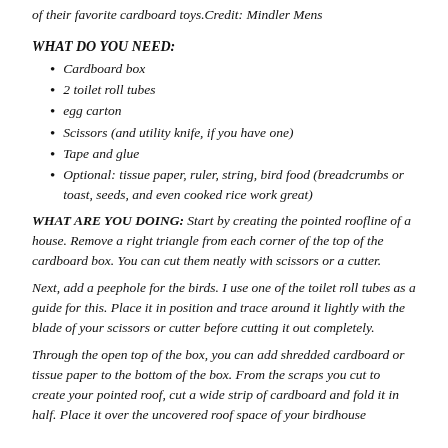of their favorite cardboard toys.Credit: Mindler Mens
WHAT DO YOU NEED:
Cardboard box
2 toilet roll tubes
egg carton
Scissors (and utility knife, if you have one)
Tape and glue
Optional: tissue paper, ruler, string, bird food (breadcrumbs or toast, seeds, and even cooked rice work great)
WHAT ARE YOU DOING: Start by creating the pointed roofline of a house. Remove a right triangle from each corner of the top of the cardboard box. You can cut them neatly with scissors or a cutter.
Next, add a peephole for the birds. I use one of the toilet roll tubes as a guide for this. Place it in position and trace around it lightly with the blade of your scissors or cutter before cutting it out completely.
Through the open top of the box, you can add shredded cardboard or tissue paper to the bottom of the box. From the scraps you cut to create your pointed roof, cut a wide strip of cardboard and fold it in half. Place it over the uncovered roof space of your birdhouse